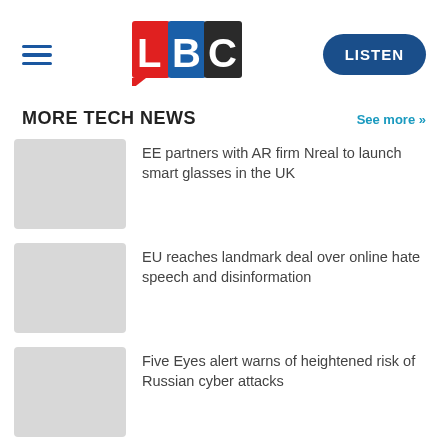LBC — LISTEN
MORE TECH NEWS
See more >>
[Figure (photo): Placeholder thumbnail image for news article 1]
EE partners with AR firm Nreal to launch smart glasses in the UK
[Figure (photo): Placeholder thumbnail image for news article 2]
EU reaches landmark deal over online hate speech and disinformation
[Figure (photo): Placeholder thumbnail image for news article 3]
Five Eyes alert warns of heightened risk of Russian cyber attacks